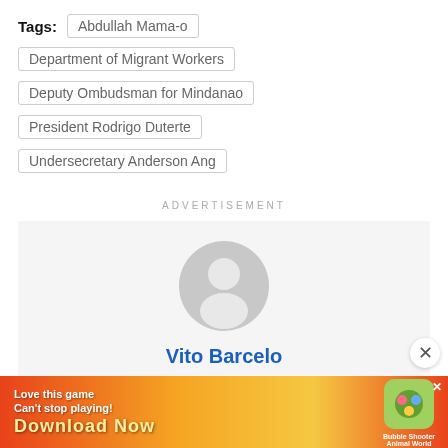Tags: Abdullah Mama-o
Department of Migrant Workers
Deputy Ombudsman for Mindanao
President Rodrigo Duterte
Undersecretary Anderson Ang
ADVERTISEMENT
[Figure (illustration): Author card with placeholder avatar (grey circle with person silhouette) and name Vito Barcelo in blue bold text]
[Figure (infographic): Advertisement banner: Love this game Can't stop playing! Download Now - Bubble Shooter Animal World]